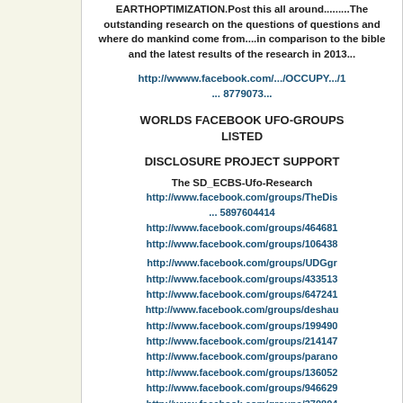EARTHOPTIMIZATION.Post this all around.........The outstanding research on the questions of questions and where do mankind come from....in comparison to the bible and the latest results of the research in 2013...
http://wwww.facebook.com/.../OCCUPY.../1 ... 8779073...
WORLDS FACEBOOK UFO-GROUPS LISTED
DISCLOSURE PROJECT SUPPORT
The SD_ECBS-Ufo-Research
http://www.facebook.com/groups/TheDis ... 5897604414
http://www.facebook.com/groups/464681
http://www.facebook.com/groups/106438
http://www.facebook.com/groups/UDGgr
http://www.facebook.com/groups/433513
http://www.facebook.com/groups/647241
http://www.facebook.com/groups/deshau
http://www.facebook.com/groups/199490
http://www.facebook.com/groups/214147
http://www.facebook.com/groups/parano
http://www.facebook.com/groups/136052
http://www.facebook.com/groups/946629
http://www.facebook.com/groups/370804